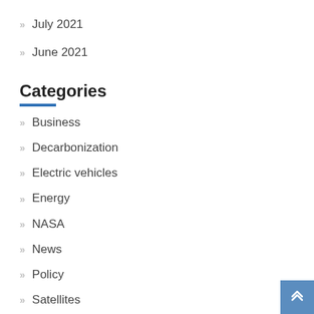July 2021
June 2021
Categories
Business
Decarbonization
Electric vehicles
Energy
NASA
News
Policy
Satellites